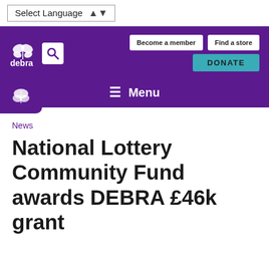Select Language
[Figure (logo): DEBRA charity logo with butterfly icon and search icon on purple background, with 'Become a member', 'Find a store', and 'DONATE' buttons]
Menu
News
National Lottery Community Fund awards DEBRA £46k grant